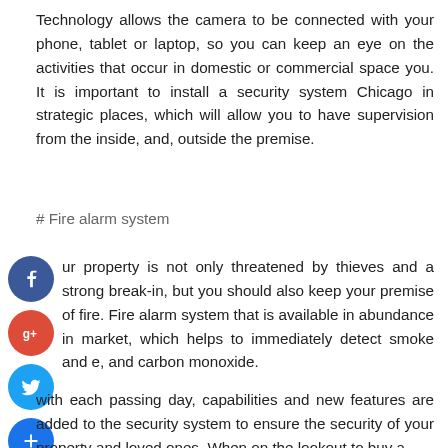Technology allows the camera to be connected with your phone, tablet or laptop, so you can keep an eye on the activities that occur in domestic or commercial space you. It is important to install a security system Chicago in strategic places, which will allow you to have supervision from the inside, and, outside the premise.
# Fire alarm system
[Figure (other): Social media share buttons: Facebook (blue circle with f), Google+ (red circle with g+), Twitter (blue circle with bird), and a blue plus circle]
ur property is not only threatened by thieves and a strong break-in, but you should also keep your premise of fire. Fire alarm system that is available in abundance in market, which helps to immediately detect smoke and e, and carbon monoxide.
with each passing day, capabilities and new features are added to the security system to ensure the security of your property and loved ones. When on the lookout to buy a